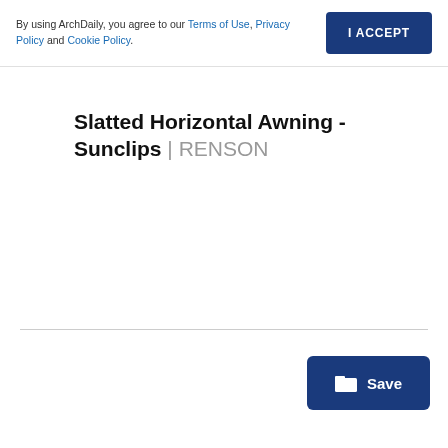By using ArchDaily, you agree to our Terms of Use, Privacy Policy and Cookie Policy.
I ACCEPT
Slatted Horizontal Awning - Sunclips | RENSON
Save